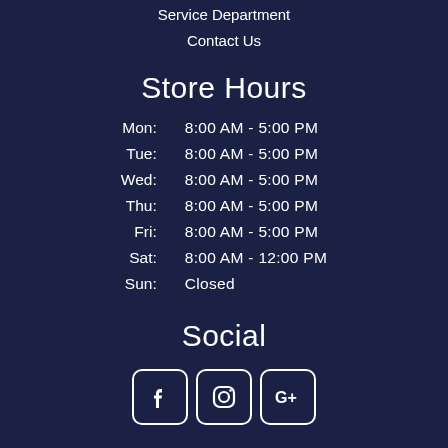Service Department
Contact Us
Store Hours
| Day | Hours |
| --- | --- |
| Mon: | 8:00 AM - 5:00 PM |
| Tue: | 8:00 AM - 5:00 PM |
| Wed: | 8:00 AM - 5:00 PM |
| Thu: | 8:00 AM - 5:00 PM |
| Fri: | 8:00 AM - 5:00 PM |
| Sat: | 8:00 AM - 12:00 PM |
| Sun: | Closed |
Social
[Figure (logo): Facebook, Instagram, and Google+ social media icons]